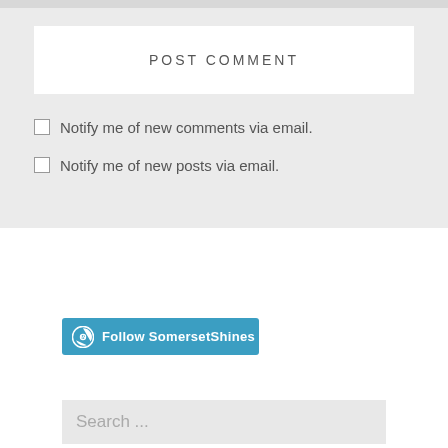POST COMMENT
Notify me of new comments via email.
Notify me of new posts via email.
[Figure (other): WordPress Follow SomersetShines button with WordPress logo icon]
Search ...